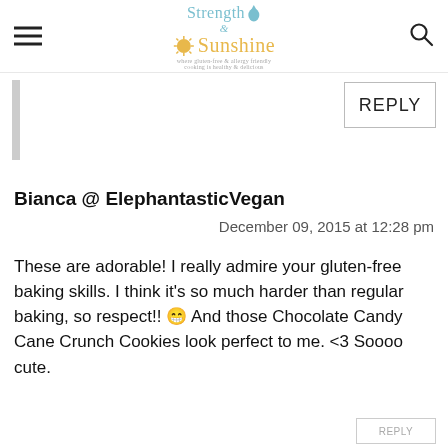[Figure (logo): Strength and Sunshine blog logo with sun and water drop icons, tagline: where gluten-free & allergy friendly cooking is healthy & delicious]
REPLY
Bianca @ ElephantasticVegan
December 09, 2015 at 12:28 pm
These are adorable! I really admire your gluten-free baking skills. I think it's so much harder than regular baking, so respect!! 😁 And those Chocolate Candy Cane Crunch Cookies look perfect to me. <3 Soooo cute.